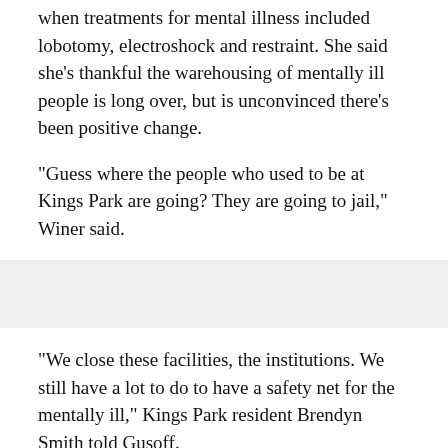when treatments for mental illness included lobotomy, electroshock and restraint. She said she's thankful the warehousing of mentally ill people is long over, but is unconvinced there's been positive change.
"Guess where the people who used to be at Kings Park are going? They are going to jail," Winer said.
"We close these facilities, the institutions. We still have a lot to do to have a safety net for the mentally ill," Kings Park resident Brendyn Smith told Gusoff.
Officials said leveling the buildings is long overdue.